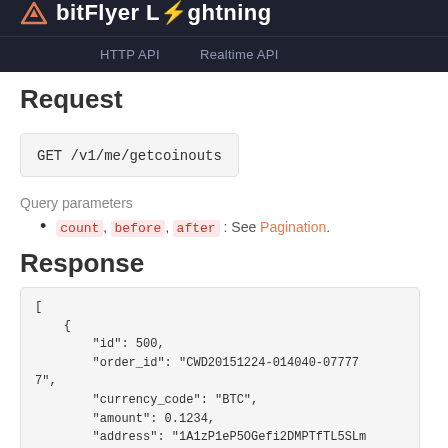bitFlyer Lightning
HTTP API   Realtime API
Request
GET /v1/me/getcoinouts
Query parameters
count, before, after : See Pagination.
Response
[
    {
        "id": 500,
        "order_id": "CWD20151224-014040-0777777",
        "currency_code": "BTC",
        "amount": 0.1234,
        "address": "1A1zP1eP5OGefi2DMPTfTL5SLm